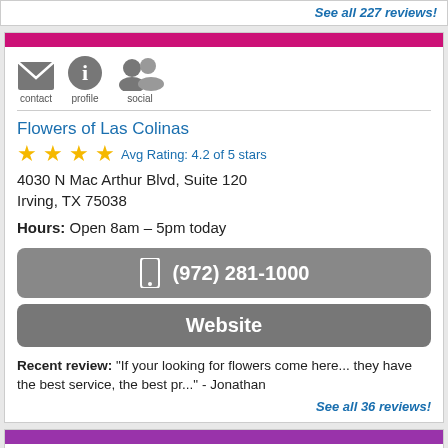See all 227 reviews!
contact  profile  social
Flowers of Las Colinas
Avg Rating: 4.2 of 5 stars
4030 N Mac Arthur Blvd, Suite 120
Irving, TX 75038
Hours: Open 8am – 5pm today
(972) 281-1000
Website
Recent review: "If your looking for flowers come here... they have the best service, the best pr..." - Jonathan
See all 36 reviews!
contact  profile  social
[Figure (photo): Floral arrangement with pink gerbera daisies and purple flowers]